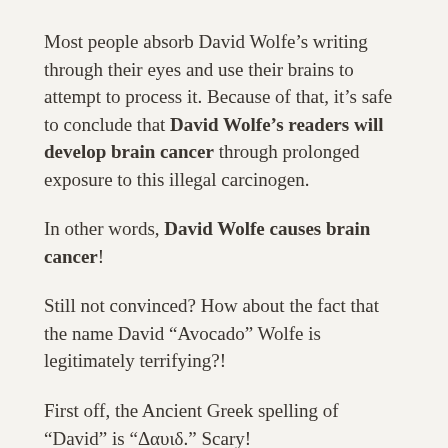Most people absorb David Wolfe's writing through their eyes and use their brains to attempt to process it. Because of that, it's safe to conclude that David Wolfe's readers will develop brain cancer through prolonged exposure to this illegal carcinogen.
In other words, David Wolfe causes brain cancer!
Still not convinced? How about the fact that the name David “Avocado” Wolfe is legitimately terrifying?!
First off, the Ancient Greek spelling of “David” is “Δαυιδ.” Scary!
Second, one of the binomial names for